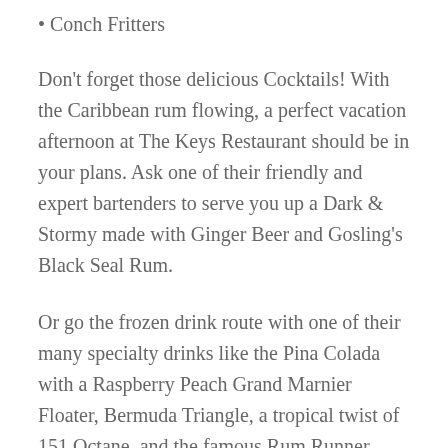• Conch Fritters
Don't forget those delicious Cocktails! With the Caribbean rum flowing, a perfect vacation afternoon at The Keys Restaurant should be in your plans. Ask one of their friendly and expert bartenders to serve you up a Dark & Stormy made with Ginger Beer and Gosling's Black Seal Rum.
Or go the frozen drink route with one of their many specialty drinks like the Pina Colada with a Raspberry Peach Grand Marnier Floater, Bermuda Triangle, a tropical twist of 151 Octane, and the famous Rum Runner.
The Keys Restaurant